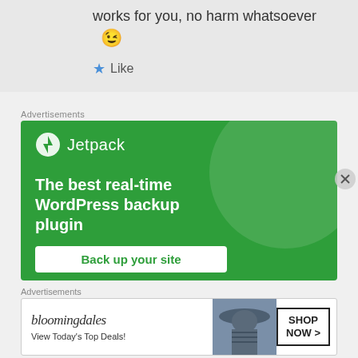works for you, no harm whatsoever
😉
★ Like
Advertisements
[Figure (illustration): Jetpack advertisement banner with green background. Shows Jetpack logo and text: 'The best real-time WordPress backup plugin' with a 'Back up your site' button.]
Advertisements
[Figure (illustration): Bloomingdale's advertisement banner showing logo, 'View Today's Top Deals!' text, image of woman with hat, and 'SHOP NOW >' button.]